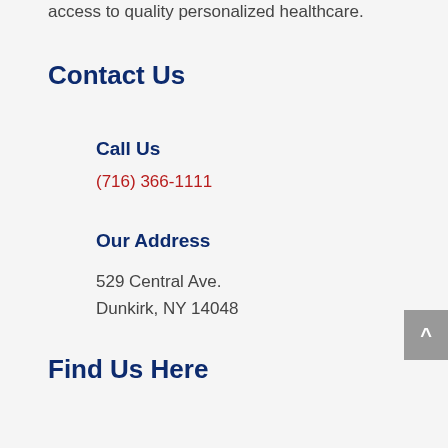access to quality personalized healthcare.
Contact Us
Call Us
(716) 366-1111
Our Address
529 Central Ave.
Dunkirk, NY 14048
Find Us Here